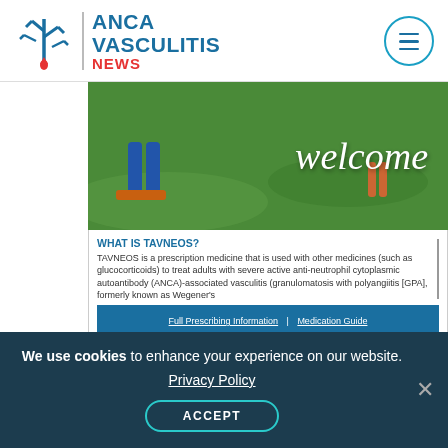ANCA VASCULITIS NEWS
[Figure (screenshot): Advertisement for TAVNEOS medication showing a welcome image with people on grass and drug prescribing information text. Blue footer with Full Prescribing Information and Medication Guide links.]
CNS symptoms included sensor or sensorimotor symptoms in three patients; headaches and hearing loss in three; delirium and seizures in two;
We use cookies to enhance your experience on our website. Privacy Policy ACCEPT